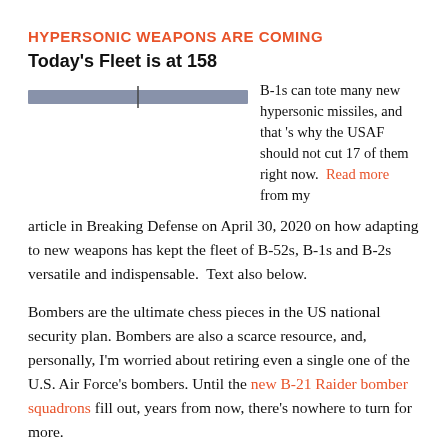HYPERSONIC WEAPONS ARE COMING
Today's Fleet is at 158
[Figure (infographic): A horizontal bar chart/progress bar showing a partial fill. The bar is steel blue/gray colored and spans most of the width, with a small tick mark near the center-left indicating a position around 100 out of 158.]
B-1s can tote many new hypersonic missiles, and that 's why the USAF should not cut 17 of them right now. Read more from my article in Breaking Defense on April 30, 2020 on how adapting to new weapons has kept the fleet of B-52s, B-1s and B-2s versatile and indispensable. Text also below.
Bombers are the ultimate chess pieces in the US national security plan. Bombers are also a scarce resource, and, personally, I'm worried about retiring even a single one of the U.S. Air Force's bombers. Until the new B-21 Raider bomber squadrons fill out, years from now, there's nowhere to turn for more.